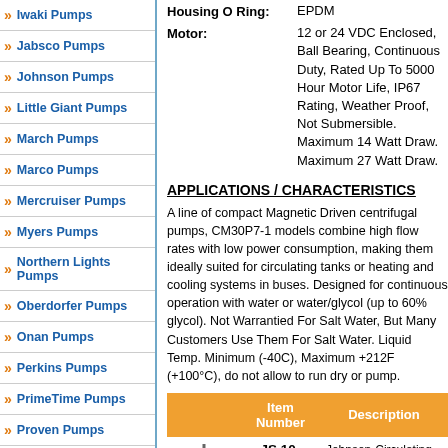Iwaki Pumps
Jabsco Pumps
Johnson Pumps
Little Giant Pumps
March Pumps
Marco Pumps
Mercruiser Pumps
Myers Pumps
Northern Lights Pumps
Oberdorfer Pumps
Onan Pumps
Perkins Pumps
PrimeTime Pumps
Proven Pumps
Rule Pumps
Housing O Ring: EPDM
Motor: 12 or 24 VDC Enclosed, Ball Bearing, Continuous Duty, Rated Up To 5000 Hour Motor Life, IP67 Rating, Weather Proof, Not Submersible. Maximum 14 Watt Draw. Maximum 27 Watt Draw.
APPLICATIONS / CHARACTERISTICS
A line of compact Magnetic Driven centrifugal pumps, CM30P7-1 models combine high flow rates with low power consumption, making them ideally suited for circulating tanks or heating and cooling systems in buses. Designed for continuous operation with water or water/glycol (up to 60% glycol). Not Warrantied For Salt Water, But Many Customers Use Them For Salt Water. Liquid Temp. Minimum (-40C), Maximum +212F (+100°C), do not allow to run dry or pump.
| Item Number | Description |
| --- | --- |
| JS 10-24502-04 | Johnson-Circulating 5.0GPM, Wire Leads, Estimated: 4 Lbs Each, More Pr... |